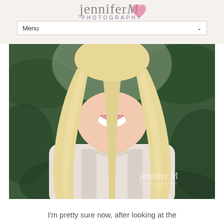jennifer M PHOTOGRAPHY — Menu
[Figure (photo): Portrait photo of a young woman with long straight blonde hair, wearing a white top, smiling, with green foliage in the background. Jennifer M Photography watermark in lower right.]
I'm pretty sure now, after looking at the